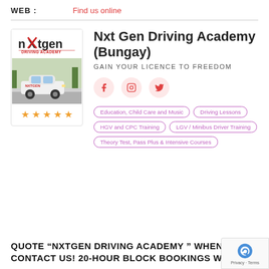WEB: Find us online
[Figure (logo): NxtGen Driving Academy logo with car photo and star rating]
Nxt Gen Driving Academy (Bungay)
GAIN YOUR LICENCE TO FREEDOM
[Figure (infographic): Social media icons: Facebook, Instagram, Twitter]
Education, Child Care and Music
Driving Lessons
HGV and CPC Training
LGV / Minibus Driver Training
Theory Test, Pass Plus & Intensive Courses
QUOTE “NXTGEN DRIVING ACADEMY ” WHEN YOU CONTACT US! 20-HOUR BLOCK BOOKINGS WILL G